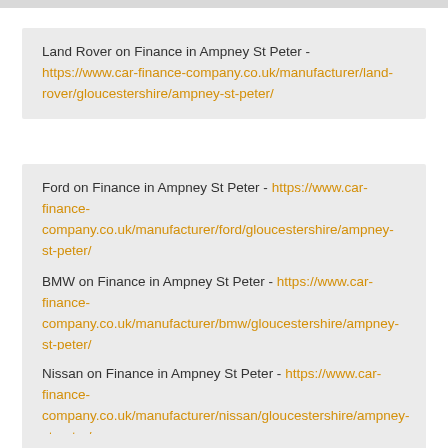Land Rover on Finance in Ampney St Peter - https://www.car-finance-company.co.uk/manufacturer/land-rover/gloucestershire/ampney-st-peter/
Ford on Finance in Ampney St Peter - https://www.car-finance-company.co.uk/manufacturer/ford/gloucestershire/ampney-st-peter/
BMW on Finance in Ampney St Peter - https://www.car-finance-company.co.uk/manufacturer/bmw/gloucestershire/ampney-st-peter/
Nissan on Finance in Ampney St Peter - https://www.car-finance-company.co.uk/manufacturer/nissan/gloucestershire/ampney-st-peter/
Kia on Finance in Ampney St Peter - https://www.car-finance-...